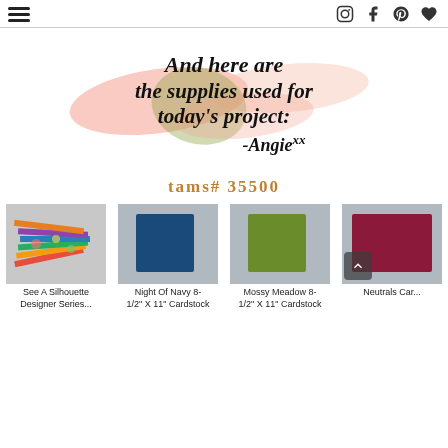Follow my blog with Bloglovin
[Figure (illustration): Decorative watercolor brush stroke banner with cursive text: 'And here are the supplies used for today's project: -Angie xx']
tams# 35500
[Figure (photo): See A Silhouette Designer Series paper product image - colorful patterned papers stacked]
See A Silhouette Designer Series
[Figure (photo): Night Of Navy 8-1/2" X 11" Cardstock - dark blue cardstock sheet]
Night Of Navy 8-1/2" X 11" Cardstock
[Figure (photo): Mossy Meadow 8-1/2" X 11" Cardstock - olive green cardstock sheet]
Mossy Meadow 8-1/2" X 11" Cardstock
[Figure (photo): Neutrals Cardstock - partial view of dark pink/magenta cardstock]
Neutrals Car...